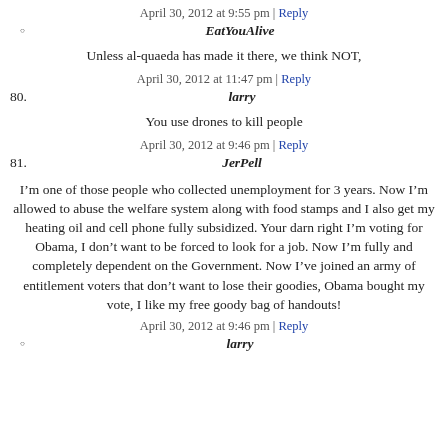April 30, 2012 at 9:55 pm | Reply
EatYouAlive
Unless al-quaeda has made it there, we think NOT,
April 30, 2012 at 11:47 pm | Reply
80. larry
You use drones to kill people
April 30, 2012 at 9:46 pm | Reply
81. JerPell
I’m one of those people who collected unemployment for 3 years. Now I’m allowed to abuse the welfare system along with food stamps and I also get my heating oil and cell phone fully subsidized. Your darn right I’m voting for Obama, I don’t want to be forced to look for a job. Now I’m fully and completely dependent on the Government. Now I’ve joined an army of entitlement voters that don’t want to lose their goodies, Obama bought my vote, I like my free goody bag of handouts!
April 30, 2012 at 9:46 pm | Reply
larry